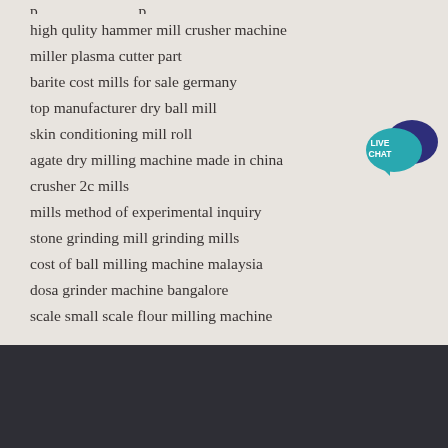high qulity hammer mill crusher machine
miller plasma cutter part
barite cost mills for sale germany
top manufacturer dry ball mill
skin conditioning mill roll
agate dry milling machine made in china
crusher 2c mills
mills method of experimental inquiry
stone grinding mill grinding mills
cost of ball milling machine malaysia
dosa grinder machine bangalore
scale small scale flour milling machine
[Figure (illustration): Live Chat widget with teal speech bubble and dark blue speech bubble overlapping, text reads LIVE CHAT]
CONTACT US
If you are interested in our company or products, welcome to visit our